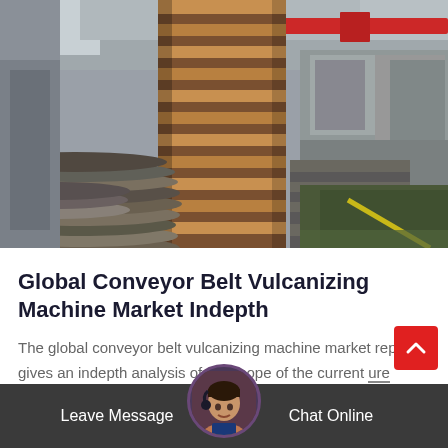[Figure (photo): Factory interior showing large industrial cylindrical drum/roller in center, stacked metal plates on the left, heavy machinery on the right, with overhead crane structure visible. Industrial vulcanizing machine manufacturing facility.]
Global Conveyor Belt Vulcanizing Machine Market Indepth
The global conveyor belt vulcanizing machine market report gives an indepth analysis of the scope of the current future market and a...